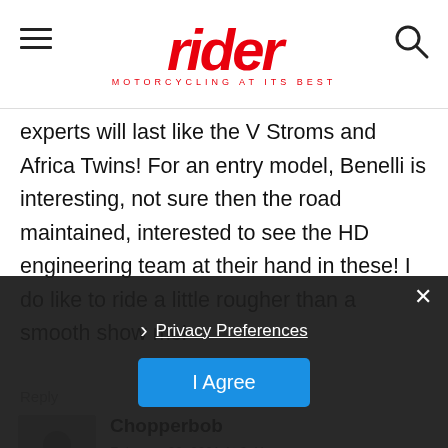rider MOTORCYCLING AT ITS BEST
experts will last like the V Stroms and Africa Twins! For an entry model, Benelli is interesting, not sure then the road maintained, interested to see the HD engineering team at their hand in these! I do like to ride a little rougher than a smooth show mc!
Reply
Chopperbob
February 23, 2021 At 3:41 pm
It is very good to see that H-D is embracing the technology that has been proven by other manufacturers and the racing circuits. I'n enough to remember when people ridic
Privacy Preferences
I Agree